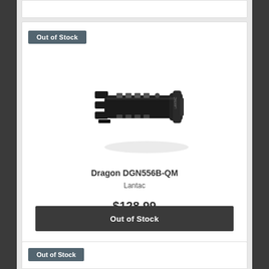Out of Stock
[Figure (photo): Black Dragon DGN556B-QM muzzle brake/compensator by Lantac, shown on white background at slight angle]
Dragon DGN556B-QM
Lantac
$128.99
Out of Stock
Out of Stock